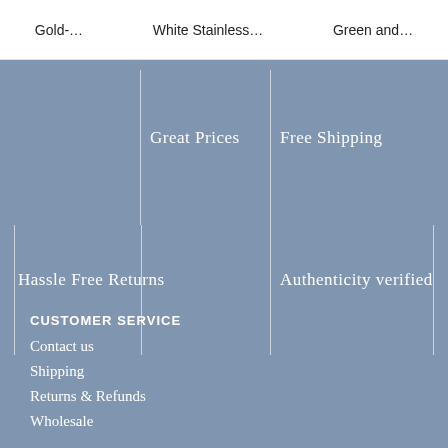Gold-…   White Stainless…   Green and…
Great Prices
Free Shipping
Hassle Free Returns
Authenticity verified
CUSTOMER SERVICE
Contact us
Shipping
Returns & Refunds
Wholesale